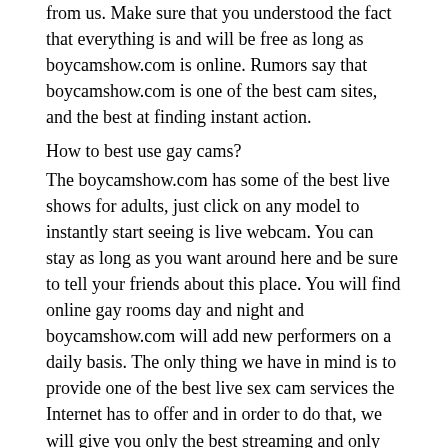from us. Make sure that you understood the fact that everything is and will be free as long as boycamshow.com is online. Rumors say that boycamshow.com is one of the best cam sites, and the best at finding instant action.
How to best use gay cams?
The boycamshow.com has some of the best live shows for adults, just click on any model to instantly start seeing is live webcam. You can stay as long as you want around here and be sure to tell your friends about this place. You will find online gay rooms day and night and boycamshow.com will add new performers on a daily basis. The only thing we have in mind is to provide one of the best live sex cam services the Internet has to offer and in order to do that, we will give you only the best streaming and only the best quality that can be found on a webcam site.
When we say that we have thousands of live gay rooms, we want to say that literally we have them. You will be amazed to see how many fine models perform on our platform and the diversity will for sure make your evenings amazing. The best part is that on boycamshow.com you will find out the fact that everything is